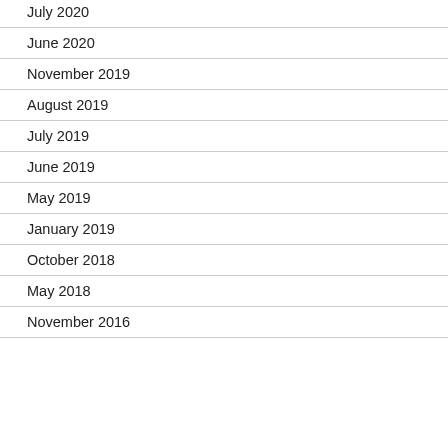July 2020
June 2020
November 2019
August 2019
July 2019
June 2019
May 2019
January 2019
October 2018
May 2018
November 2016